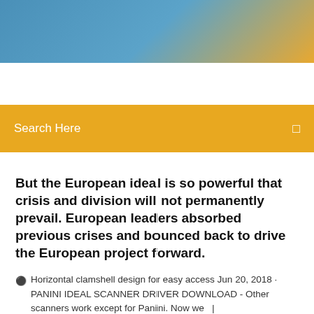[Figure (photo): Blue gradient banner header with sky-like coloring transitioning to golden/orange on the right side]
Search Here
But the European ideal is so powerful that crisis and division will not permanently prevail. European leaders absorbed previous crises and bounced back to drive the European project forward.
Horizontal clamshell design for easy access Jun 20, 2018 · PANINI IDEAL SCANNER DRIVER DOWNLOAD - Other scanners work except for Panini. Now we   |
9 Comments